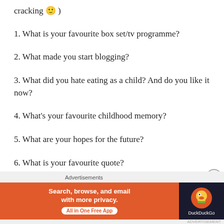cracking 🙂 )
1. What is your favourite box set/tv programme?
2. What made you start blogging?
3. What did you hate eating as a child? And do you like it now?
4. What's your favourite childhood memory?
5. What are your hopes for the future?
6. What is your favourite quote?
[Figure (screenshot): DuckDuckGo advertisement banner: orange section with text 'Search, browse, and email with more privacy. All in One Free App' and dark section with DuckDuckGo logo]